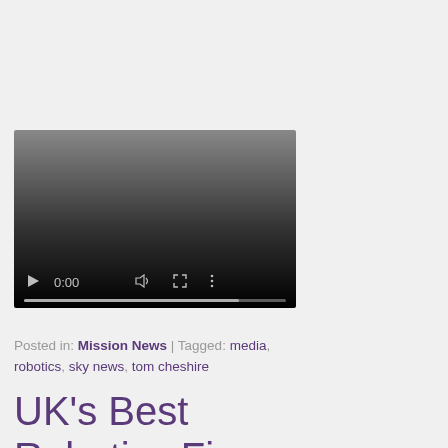[Figure (screenshot): Embedded video player with dark gradient background, showing controls: play button, 0:00 timestamp, volume icon, fullscreen icon, more options icon, and a progress bar near the bottom.]
Posted in: Mission News | Tagged: media, robotics, sky news, tom cheshire
UK's Best Robotics Firms